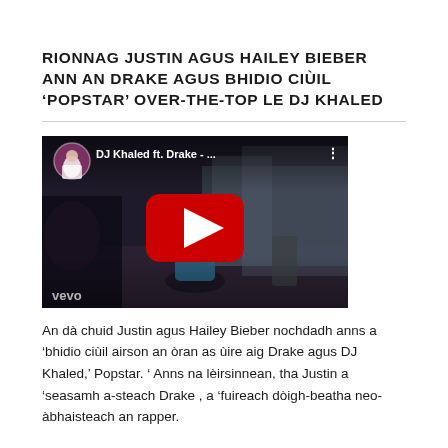RIONNAG JUSTIN AGUS HAILEY BIEBER ANN AN DRAKE AGUS BHIDIO CIÙIL 'POPSTAR' OVER-THE-TOP LE DJ KHALED
[Figure (screenshot): YouTube video thumbnail for DJ Khaled ft. Drake - Popstar, showing DJ Khaled in white suit with artists, with red YouTube play button overlay and VEVO watermark]
An dà chuid Justin agus Hailey Bieber nochdadh anns a 'bhidio ciùil airson an òran as ùire aig Drake agus DJ Khaled,' Popstar. ' Anns na lèirsinnean, tha Justin a 'seasamh a-steach Drake , a 'fuireach dòigh-beatha neo-àbhaisteach an rapper.